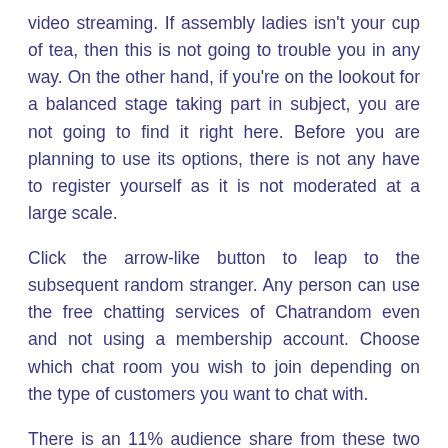video streaming. If assembly ladies isn't your cup of tea, then this is not going to trouble you in any way. On the other hand, if you're on the lookout for a balanced stage taking part in subject, you are not going to find it right here. Before you are planning to use its options, there is not any have to register yourself as it is not moderated at a large scale.
Click the arrow-like button to leap to the subsequent random stranger. Any person can use the free chatting services of Chatrandom even and not using a membership account. Choose which chat room you wish to join depending on the type of customers you want to chat with.
There is an 11% audience share from these two nations, while the United States is second with a contribution of round 10.8%. Due to the availability of Chatrandom in additional than 180 countries, customers are very